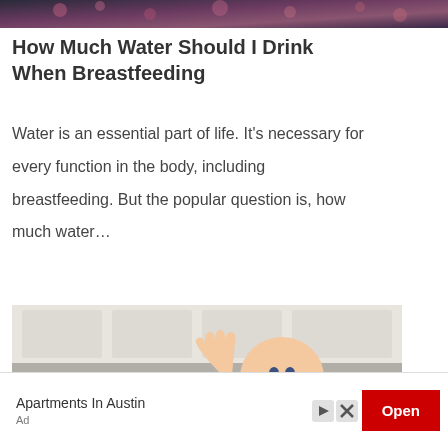[Figure (photo): Top portion of a photo showing a woman in a floral outfit, partially cropped]
How Much Water Should I Drink When Breastfeeding
Water is an essential part of life. It's necessary for every function in the body, including breastfeeding. But the popular question is, how much water…
[Figure (photo): A smiling baby in a white high chair wearing a blue outfit, with a spoon being offered to them, kitchen background]
Apartments In Austin
Ad